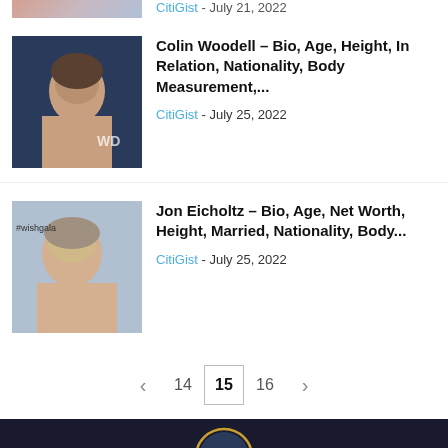[Figure (photo): Partial top strip of a person photo (cropped at top of page)]
[Figure (photo): Photo of Colin Woodell at an event with 'WD' visible in background]
Colin Woodell – Bio, Age, Height, In Relation, Nationality, Body Measurement,...
CitiGist - July 25, 2022
[Figure (photo): Photo of Jon Eicholtz at a #wishgala event]
Jon Eicholtz – Bio, Age, Net Worth, Height, Married, Nationality, Body...
CitiGist - July 25, 2022
< 14 15 16 >
[Figure (logo): CitiGist logo — city skyline silhouette in circle with gold ring, dark blue background, text 'CitiGist' below in gold]